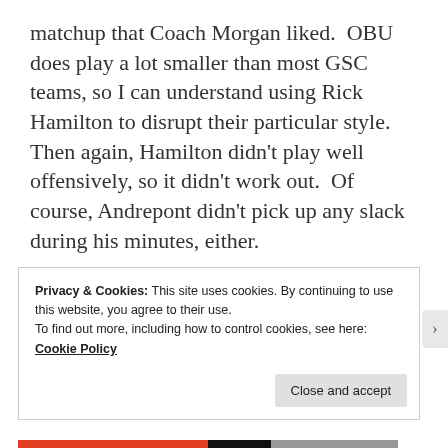matchup that Coach Morgan liked.  OBU does play a lot smaller than most GSC teams, so I can understand using Rick Hamilton to disrupt their particular style.  Then again, Hamilton didn't play well offensively, so it didn't work out.  Of course, Andrepont didn't pick up any slack during his minutes, either.
This was a strange game statistically.  OBU blistered the Bisons offensively, just like DSU did two nights before.  However, the Bisons dominated
Privacy & Cookies: This site uses cookies. By continuing to use this website, you agree to their use.
To find out more, including how to control cookies, see here: Cookie Policy